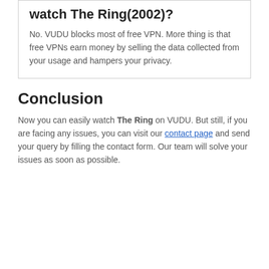watch The Ring(2002)?
No. VUDU blocks most of free VPN. More thing is that free VPNs earn money by selling the data collected from your usage and hampers your privacy.
Conclusion
Now you can easily watch The Ring on VUDU. But still, if you are facing any issues, you can visit our contact page and send your query by filling the contact form. Our team will solve your issues as soon as possible.